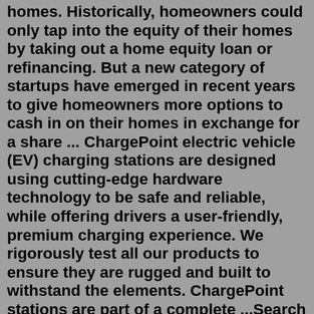homes. Historically, homeowners could only tap into the equity of their homes by taking out a home equity loan or refinancing. But a new category of startups have emerged in recent years to give homeowners more options to cash in on their homes in exchange for a share ... ChargePoint electric vehicle (EV) charging stations are designed using cutting-edge hardware technology to be safe and reliable, while offering drivers a user-friendly, premium charging experience. We rigorously test all our products to ensure they are rugged and built to withstand the elements. ChargePoint stations are part of a complete ...Search 73 Single Family Homes For Rent in High Point, North Carolina. Explore rentals by neighborhoods, schools, local guides and more on Trulia!Private Marina & World-Class Golf. With the Indian River and the City of Stuart, called "America's Most Beautiful City," to the west, the St. Lucie Inlet to the south, the Atlantic Ocean to the east and the narrow strip of Hutchinson Island to the